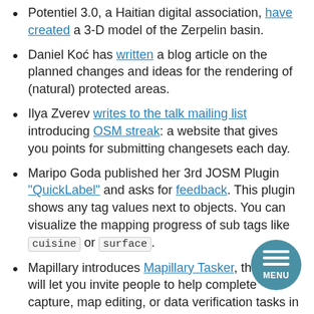Potentiel 3.0, a Haitian digital association, have created a 3-D model of the Zerpelin basin.
Daniel Koć has written a blog article on the planned changes and ideas for the rendering of (natural) protected areas.
Ilya Zverev writes to the talk mailing list introducing OSM streak: a website that gives you points for submitting changesets each day.
Maripo Goda published her 3rd JOSM Plugin "QuickLabel" and asks for feedback. This plugin shows any tag values next to objects. You can visualize the mapping progress of sub tags like cuisine or surface.
Mapillary introduces Mapillary Tasker, this tool will let you invite people to help complete capture, map editing, or data verification tasks in your area.
Daniel Koć asks for the tagging of leisure=park and leisure=village_green, which have their origin in British law. As the name after review is not able...